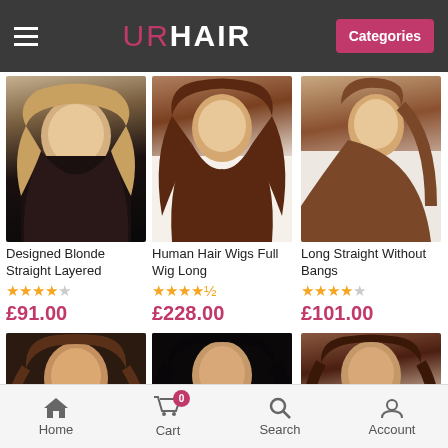UR HAIR — Categories
[Figure (photo): Product photo: woman with long blonde straight layered hair]
[Figure (photo): Product photo: woman with long brown human hair wig]
[Figure (photo): Product photo: woman with long straight hair without bangs, profile view]
Designed Blonde Straight Layered
Human Hair Wigs Full Wig Long
Long Straight Without Bangs
★★★★☆ £91.00
★★★★½ £228.00
★★★★☆ £101.00
[Figure (photo): Product photo: woman with medium brown hair]
[Figure (photo): Product photo: woman with long black straight hair]
[Figure (photo): Product photo: woman with medium dark brown hair, side parting]
Home  Cart 0  Search  Account